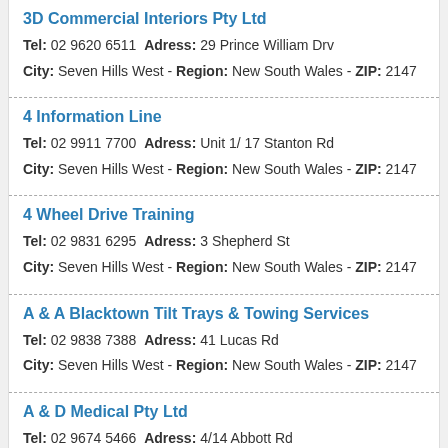3D Commercial Interiors Pty Ltd
Tel: 02 9620 6511 Adress: 29 Prince William Drv
City: Seven Hills West - Region: New South Wales - ZIP: 2147
4 Information Line
Tel: 02 9911 7700 Adress: Unit 1/ 17 Stanton Rd
City: Seven Hills West - Region: New South Wales - ZIP: 2147
4 Wheel Drive Training
Tel: 02 9831 6295 Adress: 3 Shepherd St
City: Seven Hills West - Region: New South Wales - ZIP: 2147
A & A Blacktown Tilt Trays & Towing Services
Tel: 02 9838 7388 Adress: 41 Lucas Rd
City: Seven Hills West - Region: New South Wales - ZIP: 2147
A & D Medical Pty Ltd
Tel: 02 9674 5466 Adress: 4/14 Abbott Rd
City: Seven Hills West - Region: New South Wales - ZIP: 2147